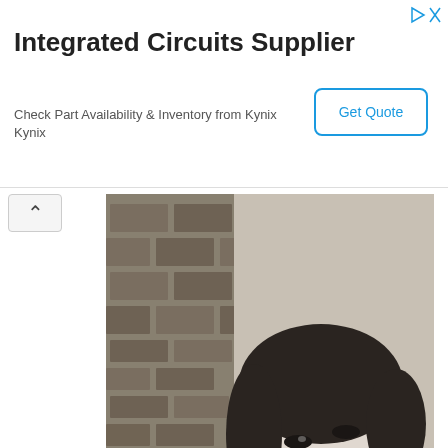Integrated Circuits Supplier
Check Part Availability & Inventory from Kynix
Kynix
Get Quote
[Figure (photo): Black and white photograph of a young woman with short dark hair looking upward, leaning against a brick wall, wearing a top with a bow detail.]
“You may encounter many defeats, but you must not be defeated.  Because it may be necessary to encounter the defeats, so you can